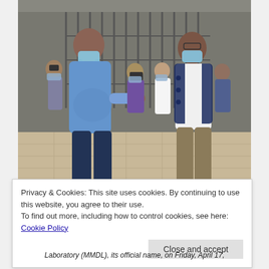[Figure (photo): Two men wearing face masks face each other outdoors near a metal gate. The man on the left wears a blue polo shirt and dark pants. The man on the right wears a navy blue vest over a white shirt and khaki pants. Several people including camera operators are visible in the background.]
Privacy & Cookies: This site uses cookies. By continuing to use this website, you agree to their use.
To find out more, including how to control cookies, see here: Cookie Policy
Close and accept
Laboratory (MMDL), its official name, on Friday, April 17,